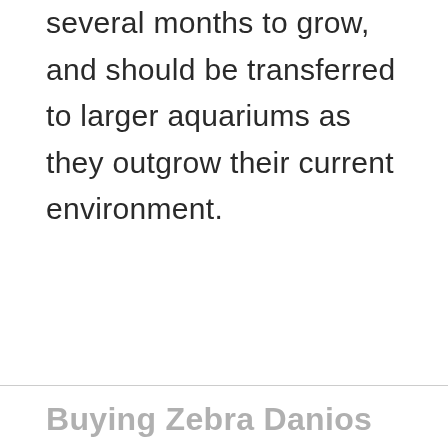several months to grow, and should be transferred to larger aquariums as they outgrow their current environment.
Buying Zebra Danios